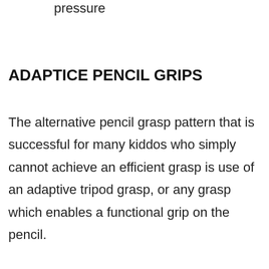pressure
ADAPTICE PENCIL GRIPS
The alternative pencil grasp pattern that is successful for many kiddos who simply cannot achieve an efficient grasp is use of an adaptive tripod grasp, or any grasp which enables a functional grip on the pencil.